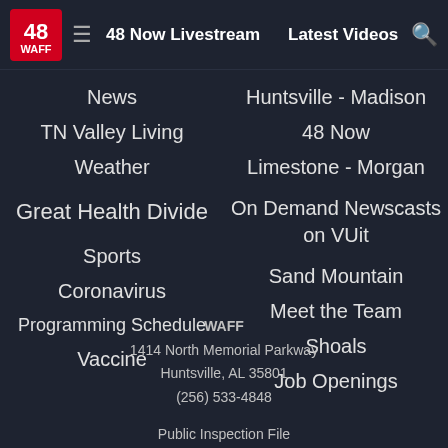48 WAFF | 48 Now Livestream | Latest Videos
News
Huntsville - Madison
TN Valley Living
48 Now
Weather
Limestone - Morgan
Great Health Divide
On Demand Newscasts on VUit
Sports
Sand Mountain
Coronavirus
Meet the Team
Programming Schedule
Shoals
Vaccine
Job Openings
WAFF
1414 North Memorial Parkway
Huntsville, AL 35801
(256) 533-4848
Public Inspection File